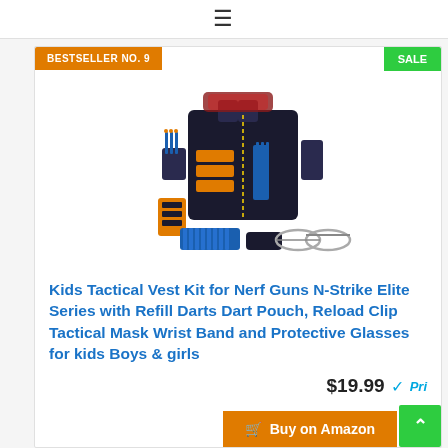≡
BESTSELLER NO. 9
SALE
[Figure (photo): Kids tactical vest kit product photo showing black tactical vest with orange and blue dart holders, camouflage face mask, reload clips, dart pouch, blue foam darts, wrist band, and protective glasses arranged together]
Kids Tactical Vest Kit for Nerf Guns N-Strike Elite Series with Refill Darts Dart Pouch, Reload Clip Tactical Mask Wrist Band and Protective Glasses for kids Boys & girls
$19.99 ✓Prime
🛒 Buy on Amazon